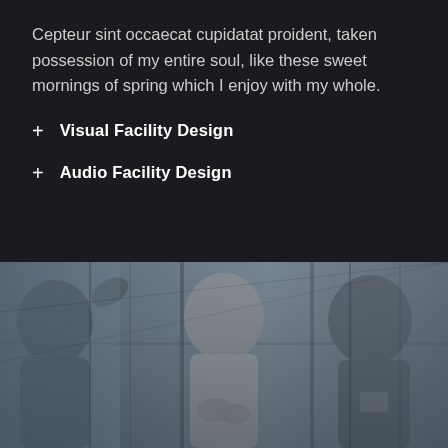Cepteur sint occaecat cupidatat proident, taken possession of my entire soul, like these sweet mornings of spring which I enjoy with my whole.
+ Visual Facility Design
+ Audio Facility Design
[Figure (photo): Black and white photo of a group of people in an office setting, one person smiling and gesturing with hands while others look on, with glass walls and windows in the background.]